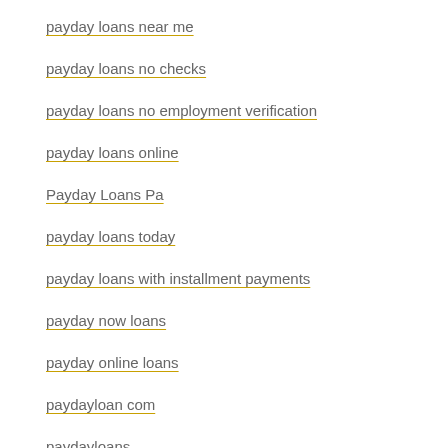payday loans near me
payday loans no checks
payday loans no employment verification
payday loans online
Payday Loans Pa
payday loans today
payday loans with installment payments
payday now loans
payday online loans
paydayloan com
paydayloans
PeekShows Live XXX Chat